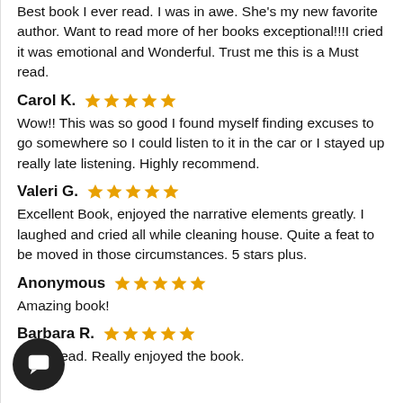Best book I ever read. I was in awe. She's my new favorite author. Want to read more of her books exceptional!!!I cried it was emotional and Wonderful. Trust me this is a Must read.
Carol K. ★★★★★
Wow!! This was so good I found myself finding excuses to go somewhere so I could listen to it in the car or I stayed up really late listening. Highly recommend.
Valeri G. ★★★★★
Excellent Book, enjoyed the narrative elements greatly. I laughed and cried all while cleaning house. Quite a feat to be moved in those circumstances. 5 stars plus.
Anonymous ★★★★★
Amazing book!
Barbara R. ★★★★★
Great read. Really enjoyed the book.